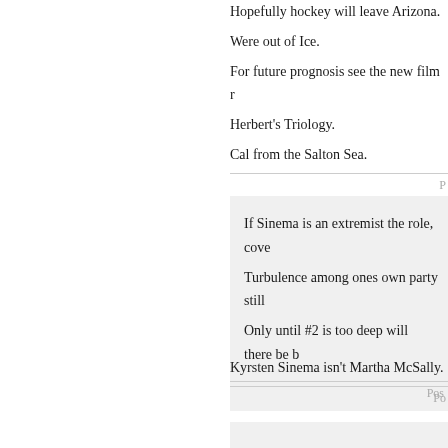Hopefully hockey will leave Arizona.
Were out of Ice.
For future prognosis see the new film r
Herbert's Triology.
Cal from the Salton Sea.
Po
If Sinema is an extremist the role, cove
Turbulence among ones own party still
Only until #2 is too deep will there be b
Pos
Kyrsten Sinema isn't Martha McSally.
Po